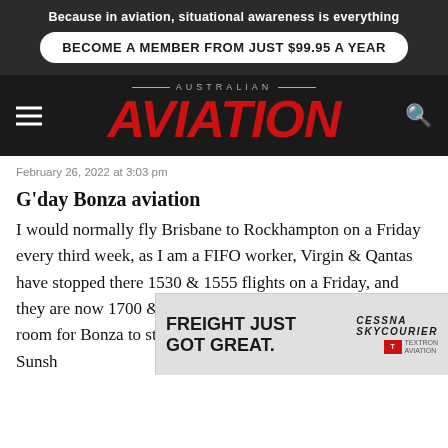Because in aviation, situational awareness is everything
BECOME A MEMBER FROM JUST $99.95 A YEAR
AUSTRALIAN AVIATION
February 26, 2022 at 3:03 pm
G’day Bonza aviation
I would normally fly Brisbane to Rockhampton on a Friday every third week, as I am a FIFO worker, Virgin & Qantas have stopped there 1530 & 1555 flights on a Friday, and they are now 1700 & 1800, So hopefully this will leave room for Bonza to step in & tak… Sunsh…
[Figure (infographic): Advertisement banner: FREIGHT JUST GOT GREAT. Cessna Skycourier logo. Textron Aviation logo.]